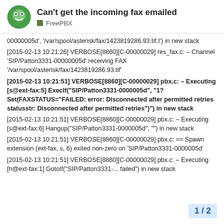Can't get the incoming fax emailed | FreePBX
00000005d', '/var/spool/asterisk/fax/1423819286.93.tif,I') in new stack
[2015-02-13 10:21:26] VERBOSE[8860][C-00000029] res_fax.c: – Channel 'SIP/Patton3331-00000005d' receiving FAX '/var/spool/asterisk/fax/1423819286.93.tif'
[2015-02-13 10:21:51] VERBOSE[8860][C-00000029] pbx.c: – Executing [s@ext-fax:5] ExecIf("SIP/Patton3331-0000005d", "1?Set(FAXSTATUS="FAILED: error: Disconnected after permitted retries statusstr: Disconnected after permitted retries")") in new stack
[2015-02-13 10:21:51] VERBOSE[8860][C-00000029] pbx.c: – Executing [s@ext-fax:6] Hangup("SIP/Patton3331-0000005d", "") in new stack
[2015-02-13 10:21:51] VERBOSE[8860][C-00000029] pbx.c: == Spawn extension (ext-fax, s, 6) exited non-zero on 'SIP/Patton3331-0000005d'
[2015-02-13 10:21:51] VERBOSE[8860][C-00000029] pbx.c: – Executing [h@ext-fax:1] GotoIf("SIP/Patton3331-... failed") in new stack
1 / 2